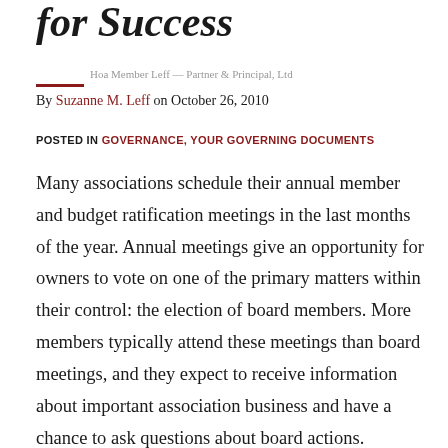for Success
By Suzanne M. Leff on October 26, 2010
POSTED IN GOVERNANCE, YOUR GOVERNING DOCUMENTS
Many associations schedule their annual member and budget ratification meetings in the last months of the year. Annual meetings give an opportunity for owners to vote on one of the primary matters within their control: the election of board members. More members typically attend these meetings than board meetings, and they expect to receive information about important association business and have a chance to ask questions about board actions. Associations should recognize the need to balance member participation and information dissemination with meeting control. No owner wants to attend long, unproductive meetings, nor do members want to show up to the meeting only to learn that